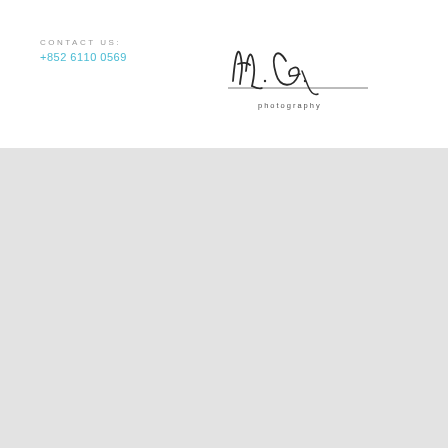CONTACT US:
+852 6110 0569
[Figure (logo): Handwritten cursive signature logo reading 'th. G.' with 'photography' text underneath, in dark ink style]
[Figure (photo): Large light gray rectangular block occupying the lower portion of the page, representing a blank image placeholder area]